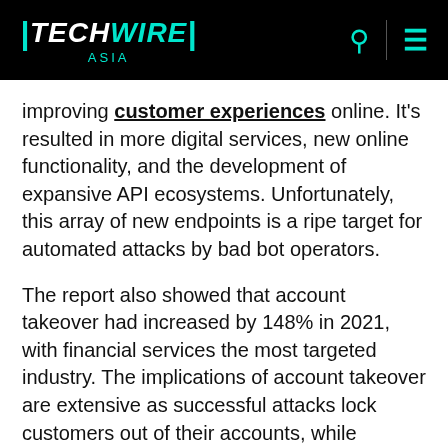TECHWIRE ASIA
improving customer experiences online. It's resulted in more digital services, new online functionality, and the development of expansive API ecosystems. Unfortunately, this array of new endpoints is a ripe target for automated attacks by bad bot operators.
The report also showed that account takeover had increased by 148% in 2021, with financial services the most targeted industry. The implications of account takeover are extensive as successful attacks lock customers out of their accounts, while fraudsters gain access to sensitive information that can be stolen and abused.